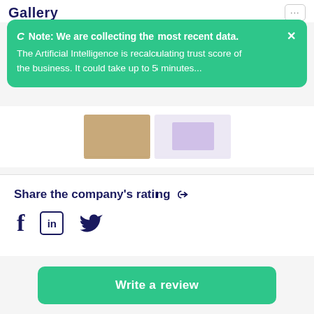Gallery
Note: We are collecting the most recent data. The Artificial Intelligence is recalculating trust score of the business. It could take up to 5 minutes...
Share the company's rating
Facebook, LinkedIn, Twitter social share icons
Write a review